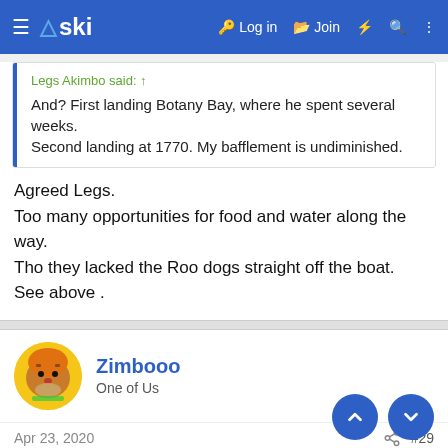≡ △ski  🔑 Log in  🗂 Join  ⚡ 🔍 ⋮
Legs Akimbo said: ↑
And? First landing Botany Bay, where he spent several weeks. Second landing at 1770. My bafflement is undiminished.
Agreed Legs.
Too many opportunities for food and water along the way.
Tho they lacked the Roo dogs straight off the boat.
See above .
Zimbooo
One of Us
Apr 23, 2020  #29
I just hope Cook didn't have live animals for consumption on board.........